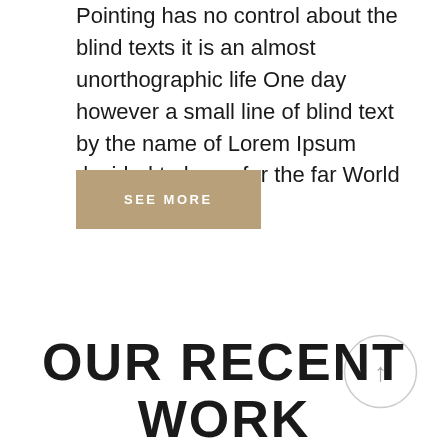Pointing has no control about the blind texts it is an almost unorthographic life One day however a small line of blind text by the name of Lorem Ipsum decided to leave for the far World of Grammar.
SEE MORE
[Figure (illustration): Circle with an upward-pointing arrow icon, used as a scroll-to-top button]
OUR RECENT WORK